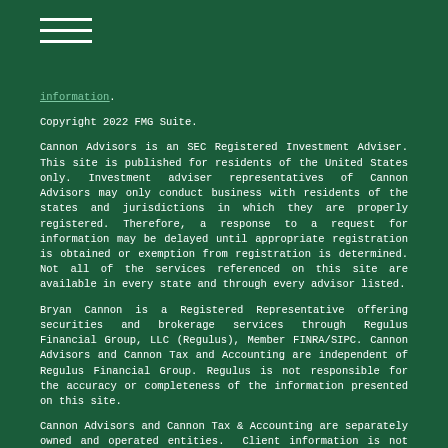[Figure (other): Hamburger menu icon — three horizontal white lines]
information.
Copyright 2022 FMG Suite.
Cannon Advisors is an SEC Registered Investment Adviser. This site is published for residents of the United States only. Investment adviser representatives of Cannon Advisors may only conduct business with residents of the states and jurisdictions in which they are properly registered. Therefore, a response to a request for information may be delayed until appropriate registration is obtained or exemption from registration is determined. Not all of the services referenced on this site are available in every state and through every advisor listed.
Bryan Cannon is a Registered Representative offering securities and brokerage services through Regulus Financial Group, LLC (Regulus), Member FINRA/SIPC. Cannon Advisors and Cannon Tax and Accounting are independent of Regulus Financial Group. Regulus is not responsible for the accuracy or completeness of the information presented on this site.
Cannon Advisors and Cannon Tax & Accounting are separately owned and operated entities.  Client information is not shared between the two entities without prior approval. Cannon Advisors and Cannon Tax & Accounting do not revenue share nor do they compensate each other for client referrals.